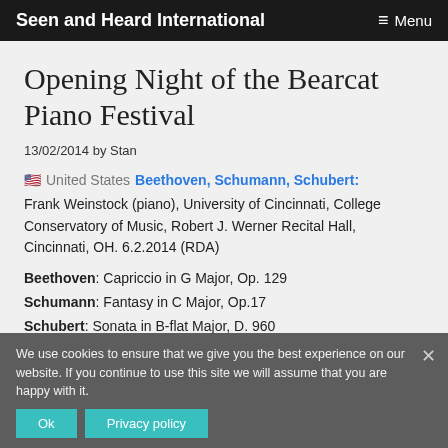Seen and Heard International  ≡ Menu
Opening Night of the Bearcat Piano Festival
13/02/2014 by Stan
🇺🇸 United States Beethoven, Schumann, Schubert:
Frank Weinstock (piano), University of Cincinnati, College Conservatory of Music, Robert J. Werner Recital Hall, Cincinnati, OH. 6.2.2014 (RDA)
Beethoven: Capriccio in G Major, Op. 129
Schumann: Fantasy in C Major, Op.17
Schubert: Sonata in B-flat Major, D. 960
We use cookies to ensure that we give you the best experience on our website. If you continue to use this site we will assume that you are happy with it.